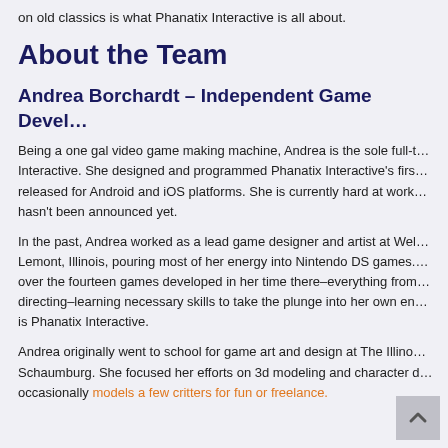on old classics is what Phanatix Interactive is all about.
About the Team
Andrea Borchardt – Independent Game Devel…
Being a one gal video game making machine, Andrea is the sole full-t… Interactive. She designed and programmed Phanatix Interactive's firs… released for Android and iOS platforms. She is currently hard at work… hasn't been announced yet.
In the past, Andrea worked as a lead game designer and artist at Wel… Lemont, Illinois, pouring most of her energy into Nintendo DS games.… over the fourteen games developed in her time there–everything from… directing–learning necessary skills to take the plunge into her own en… is Phanatix Interactive.
Andrea originally went to school for game art and design at The Illino… Schaumburg. She focused her efforts on 3d modeling and character d… occasionally models a few critters for fun or freelance.